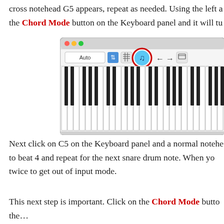cross notehead G5 appears, repeat as needed. Using the left a… the Chord Mode button on the Keyboard panel and it will tu…
[Figure (screenshot): Screenshot of a music software Keyboard panel showing piano keys with a blue Chord Mode button highlighted by a red circle in the toolbar. The toolbar shows 'Auto' dropdown, a blue arrow button, a grid icon, the chord mode button (circled in red), left/right arrows, and a window icon.]
Next click on C5 on the Keyboard panel and a normal notehe… to beat 4 and repeat for the next snare drum note. When yo… twice to get out of input mode.
This next step is important. Click on the Chord Mode butto… the…